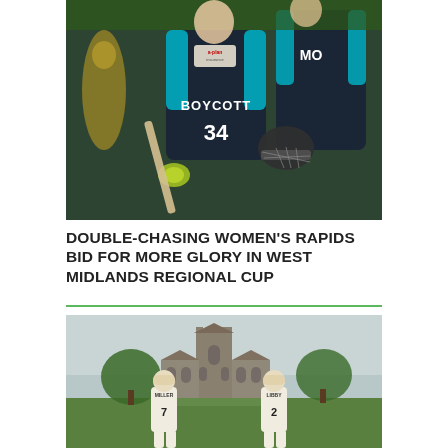[Figure (photo): Two women cricketers in dark blue/black kit with teal accents celebrating. The player in front wears number 34 with 'BOYCOTT' on the back and an A-Plan Insurance logo. She carries a bat and gloves. Another player in similar kit stands behind. Green foliage background.]
DOUBLE-CHASING WOMEN'S RAPIDS BID FOR MORE GLORY IN WEST MIDLANDS REGIONAL CUP
[Figure (photo): Two cricketers in white cricket clothing walking onto a pitch. Player on left wears number 7 (MILLER), player on right wears number 2 (LIBBY). In the background is a large Gothic-style church/cathedral with a green tree-lined ground. Overcast sky.]